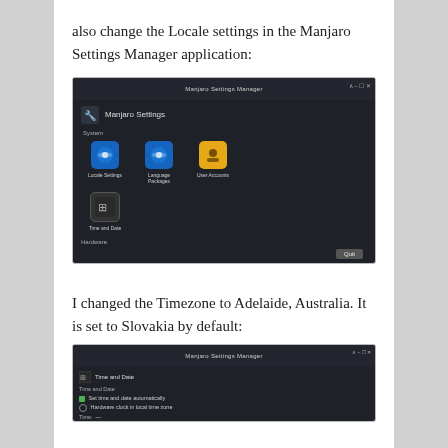also change the Locale settings in the Manjaro Settings Manager application:
[Figure (screenshot): Screenshot of Manjaro Settings Manager showing System section with icons for Locale Settings, Language Packages, User Accounts, and Time and Date, plus a Hardware section and Quit button.]
I changed the Timezone to Adelaide, Australia. It is set to Slovakia by default:
[Figure (screenshot): Partial screenshot of Manjaro Settings Manager showing Time and Date settings panel with options for automatic time sync and hardware clock in local time, plus Time field.]